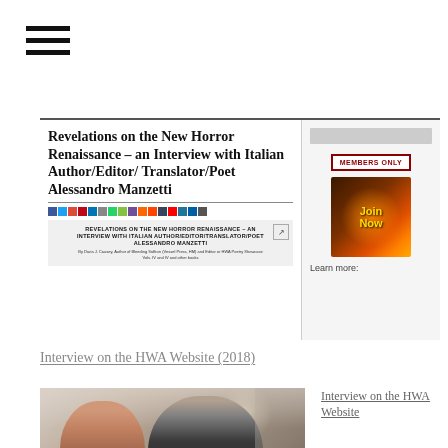[Figure (screenshot): Menu icon (hamburger) with three horizontal bars]
[Figure (screenshot): Screenshot of a webpage showing title 'Revelations on the New Horror Renaissance – an Interview with Italian Author/Editor/Translator/Poet Alessandro Manzetti' with social sharing icons, an inner document preview, and a sidebar with MEMBERS ONLY button and a pumpkin 'Join Now' image, plus 'Learn more:' text]
Interview on the HWA Website (2018)
Interview on the HWA Website
[Figure (photo): Photo of two people standing together – a woman on the left and a man with glasses wearing a dark blazer on the right]